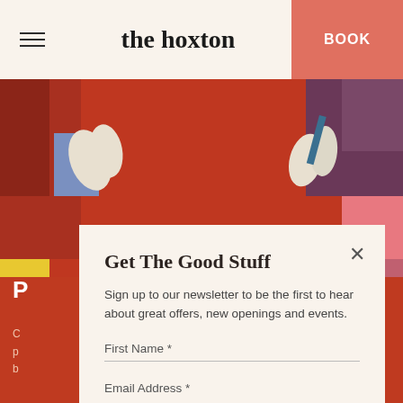the hoxton | BOOK
[Figure (illustration): Colorful abstract illustration with hands, geometric shapes on a red/orange background]
Get The Good Stuff
Sign up to our newsletter to be the first to hear about great offers, new openings and events.
First Name *
Email Address *